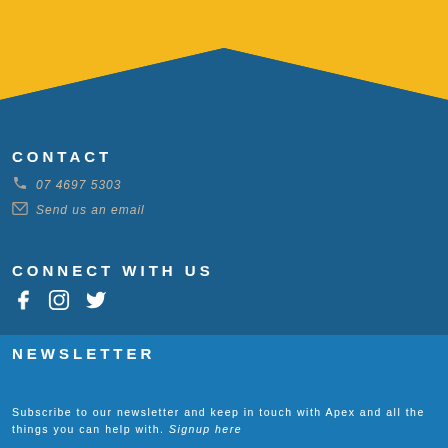[Figure (illustration): Blue background with yellow/gold chevron/triangle shape at the top pointing downward, creating a decorative header graphic. Dark blue main body.]
CONTACT
07 4697 5303
Send us an email
CONNECT WITH US
[Figure (illustration): Three social media icons: Facebook (f), Instagram (circle with square), Twitter (bird)]
NEWSLETTER
Subscribe to our newsletter and keep in touch with Apex and all the things you can help with. Signup here